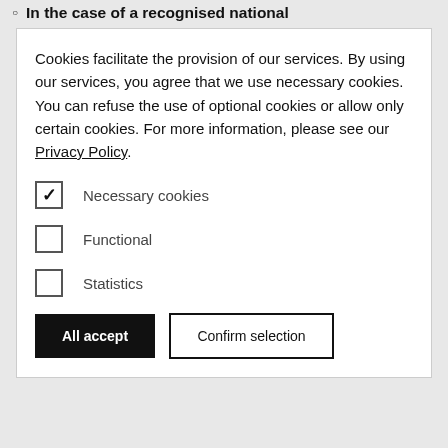In the case of a recognised national ...
Cookies facilitate the provision of our services. By using our services, you agree that we use necessary cookies. You can refuse the use of optional cookies or allow only certain cookies. For more information, please see our Privacy Policy.
Necessary cookies
Functional
Statistics
All accept | Confirm selection